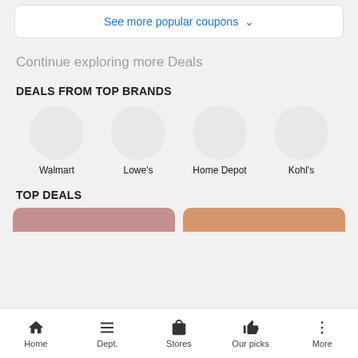See more popular coupons ∨
Continue exploring more Deals
DEALS FROM TOP BRANDS
Walmart  Lowe's  Home Depot  Kohl's
TOP DEALS
Home  Dept.  Stores  Our picks  More